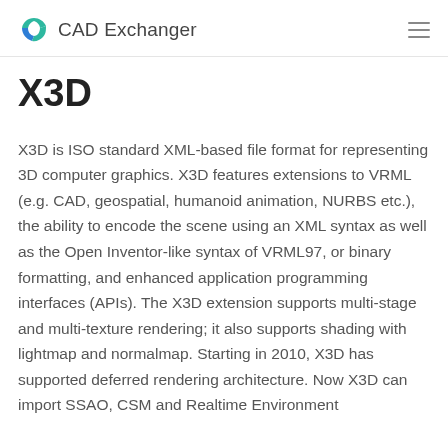CAD Exchanger
X3D
X3D is ISO standard XML-based file format for representing 3D computer graphics. X3D features extensions to VRML (e.g. CAD, geospatial, humanoid animation, NURBS etc.), the ability to encode the scene using an XML syntax as well as the Open Inventor-like syntax of VRML97, or binary formatting, and enhanced application programming interfaces (APIs). The X3D extension supports multi-stage and multi-texture rendering; it also supports shading with lightmap and normalmap. Starting in 2010, X3D has supported deferred rendering architecture. Now X3D can import SSAO, CSM and Realtime Environment